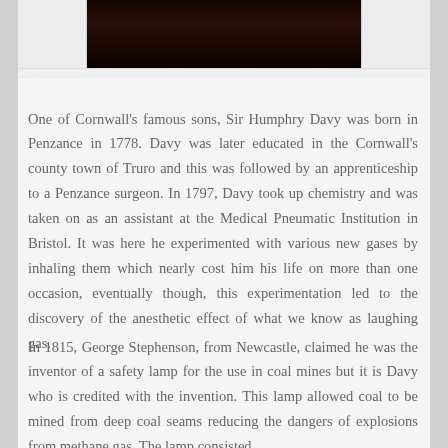[Figure (photo): A dark photographic image, partially visible at the top of the page, with white/light borders on the left and right sides. Appears to be a historical portrait or scene.]
One of Cornwall's famous sons, Sir Humphry Davy was born in Penzance in 1778. Davy was later educated in the Cornwall's county town of Truro and this was followed by an apprenticeship to a Penzance surgeon. In 1797, Davy took up chemistry and was taken on as an assistant at the Medical Pneumatic Institution in Bristol. It was here he experimented with various new gases by inhaling them which nearly cost him his life on more than one occasion, eventually though, this experimentation led to the discovery of the anesthetic effect of what we know as laughing gas.
In 1815, George Stephenson, from Newcastle, claimed he was the inventor of a safety lamp for the use in coal mines but it is Davy who is credited with the invention. This lamp allowed coal to be mined from deep coal seams reducing the dangers of explosions from methane gas. The lamp consisted